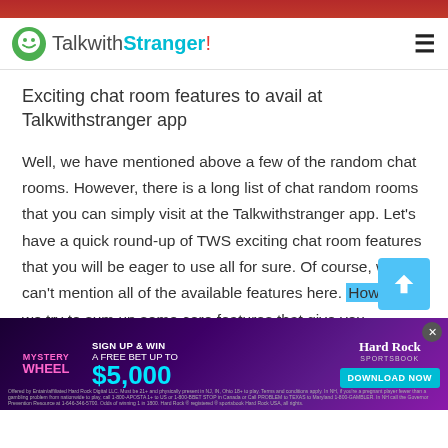TalkwithStranger!
Exciting chat room features to avail at Talkwithstranger app
Well, we have mentioned above a few of the random chat rooms. However, there is a long list of chat random rooms that you can simply visit at the Talkwithstranger app. Let's have a quick round-up of TWS exciting chat room features that you will be eager to use all for sure. Of course, we can't mention all of the available features here. However, we try to sum up some core features that give you
[Figure (screenshot): Hard Rock Sportsbook advertisement banner: Mystery Wheel - Sign Up & Win A Free Bet Up To $5,000 - Download Now button]